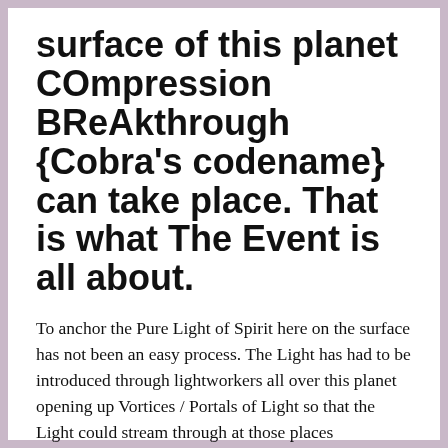surface of this planet COmpression BReAkthrough {Cobra's codename} can take place. That is what The Event is all about.
To anchor the Pure Light of Spirit here on the surface has not been an easy process. The Light has had to be introduced through lightworkers all over this planet opening up Vortices / Portals of Light so that the Light could stream through at those places unhindered by the Veil and begin to be ‘anchored’ on the surface.
Advertisements